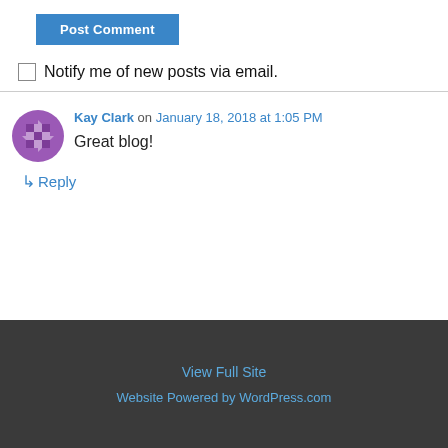[Figure (other): Blue 'Post Comment' button]
Notify me of new posts via email.
Kay Clark on January 18, 2018 at 1:05 PM
Great blog!
↳ Reply
View Full Site
Website Powered by WordPress.com